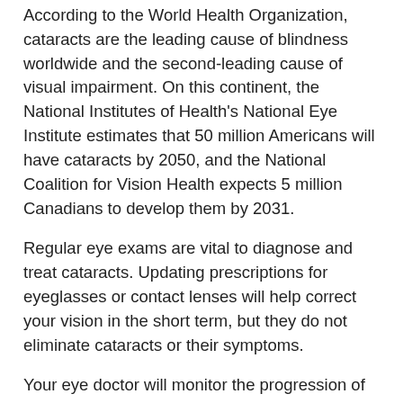According to the World Health Organization, cataracts are the leading cause of blindness worldwide and the second-leading cause of visual impairment. On this continent, the National Institutes of Health's National Eye Institute estimates that 50 million Americans will have cataracts by 2050, and the National Coalition for Vision Health expects 5 million Canadians to develop them by 2031.
Regular eye exams are vital to diagnose and treat cataracts. Updating prescriptions for eyeglasses or contact lenses will help correct your vision in the short term, but they do not eliminate cataracts or their symptoms.
Your eye doctor will monitor the progression of your cataracts. If vision loss inhibits your abilities, or enjoyment of regular activities, you will most likely need cataract surgery.